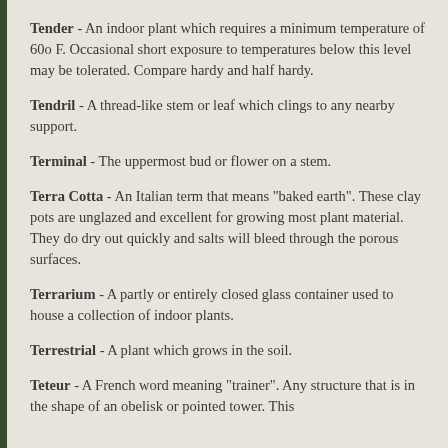Tender - An indoor plant which requires a minimum temperature of 60o F. Occasional short exposure to temperatures below this level may be tolerated. Compare hardy and half hardy.
Tendril - A thread-like stem or leaf which clings to any nearby support.
Terminal - The uppermost bud or flower on a stem.
Terra Cotta - An Italian term that means "baked earth". These clay pots are unglazed and excellent for growing most plant material. They do dry out quickly and salts will bleed through the porous surfaces.
Terrarium - A partly or entirely closed glass container used to house a collection of indoor plants.
Terrestrial - A plant which grows in the soil.
Teteur - A French word meaning "trainer". Any structure that is in the shape of an obelisk or pointed tower. This